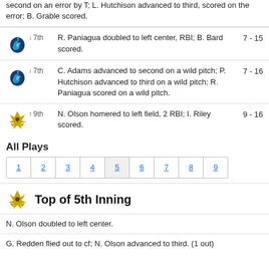second on an error by T; L. Hutchison advanced to third, scored on the error; B. Grable scored.
↓ 7th — R. Paniagua doubled to left center, RBI; B. Bard scored. 7 - 15
↓ 7th — C. Adams advanced to second on a wild pitch; P. Hutchison advanced to third on a wild pitch; R. Paniagua scored on a wild pitch. 7 - 16
↑ 9th — N. Olson homered to left field, 2 RBI; I. Riley scored. 9 - 16
All Plays
| 1 | 2 | 3 | 4 | 5 | 6 | 7 | 8 | 9 |
| --- | --- | --- | --- | --- | --- | --- | --- | --- |
|  |
Top of 5th Inning
N. Olson doubled to left center.
G. Redden flied out to cf; N. Olson advanced to third. (1 out)